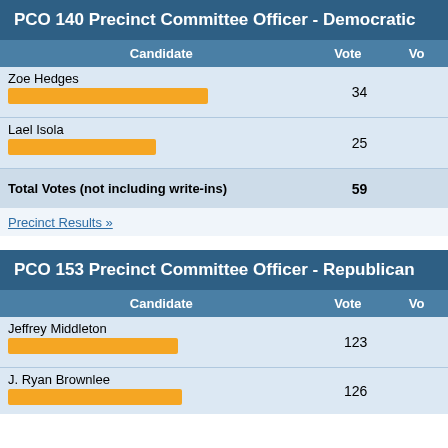PCO 140 Precinct Committee Officer - Democratic
| Candidate | Vote | Vo |
| --- | --- | --- |
| Zoe Hedges | 34 |  |
| Lael Isola | 25 |  |
| Total Votes (not including write-ins) | 59 |  |
Precinct Results »
PCO 153 Precinct Committee Officer - Republican
| Candidate | Vote | Vo |
| --- | --- | --- |
| Jeffrey Middleton | 123 |  |
| J. Ryan Brownlee | 126 |  |